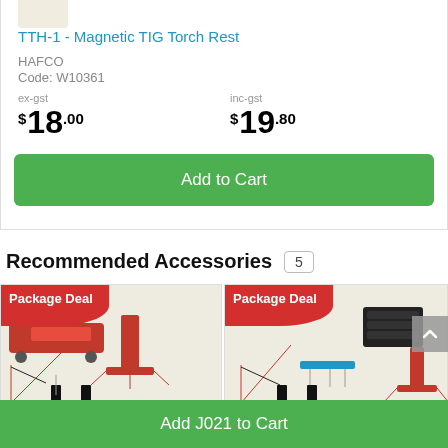TTH-1 - Magnetic TIG Torch Rest
HAFCO
Code: W10361
ex-gst $ 18.00   inc-gst $ 19.80
Add to Cart
Recommended Accessories 5
[Figure (photo): Package Deal product bundle photo 1 - engine crane, jack stands, transmission stand]
[Figure (photo): Package Deal product bundle photo 2 - engine crane, toolbox, jack stands, lifting beam]
Add J021 to Cart